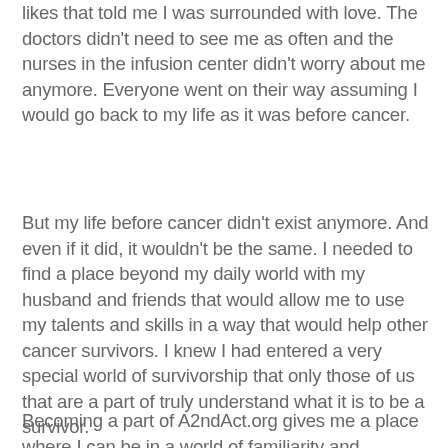likes that told me I was surrounded with love. The doctors didn't need to see me as often and the nurses in the infusion center didn't worry about me anymore. Everyone went on their way assuming I would go back to my life as it was before cancer.
But my life before cancer didn't exist anymore. And even if it did, it wouldn't be the same. I needed to find a place beyond my daily world with my husband and friends that would allow me to use my talents and skills in a way that would help other cancer survivors. I knew I had entered a very special world of survivorship that only those of us that are a part of truly understand what it is to be a survivor.
Becoming a part of A2ndAct.org gives me a place where I can be in a world of familiarity and